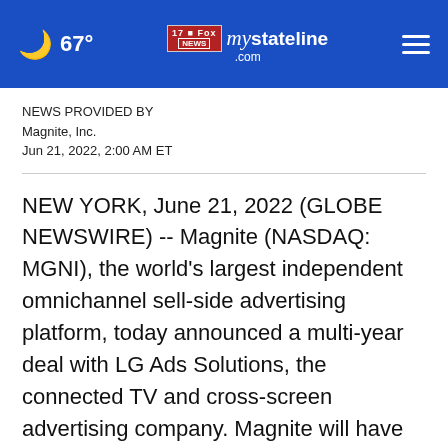67° mystateline.com NEWS
NEWS PROVIDED BY
Magnite, Inc.
Jun 21, 2022, 2:00 AM ET
NEW YORK, June 21, 2022 (GLOBE NEWSWIRE) -- Magnite (NASDAQ: MGNI), the world's largest independent omnichannel sell-side advertising platform, today announced a multi-year deal with LG Ads Solutions, the connected TV and cross-screen advertising company. Magnite will have access to LG Ads Solutions' audience-level automatic content recognition (ACR) data for